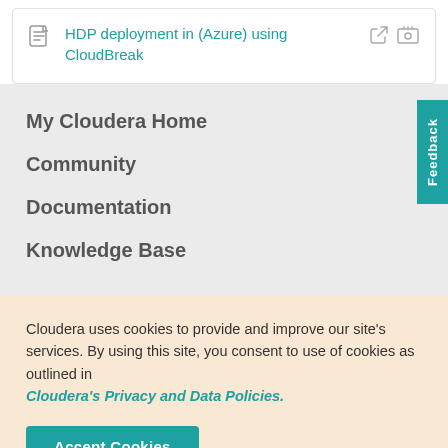HDP deployment in (Azure) using CloudBreak
My Cloudera Home
Community
Documentation
Knowledge Base
Cloudera uses cookies to provide and improve our site's services. By using this site, you consent to use of cookies as outlined in Cloudera's Privacy and Data Policies.
Accept Cookies